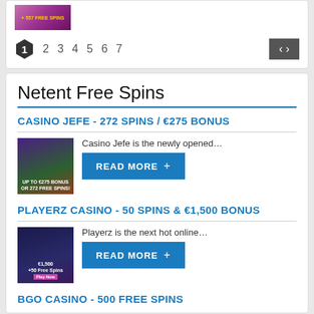[Figure (screenshot): Thumbnail image with pink/purple gradient background and yellow text]
1 2 3 4 5 6 7 (pagination) with < > navigation arrows
Netent Free Spins
CASINO JEFE - 272 SPINS / €275 BONUS
[Figure (screenshot): Casino Jefe promotional image - UP TO €275 BONUS OR 272 FREE SPINS!]
Casino Jefe is the newly opened…
READ MORE +
PLAYERZ CASINO - 50 SPINS & €1,500 BONUS
[Figure (screenshot): Playerz Casino promotional image - €1,500 +50 Free Spins]
Playerz is the next hot online…
READ MORE +
BGO CASINO - 500 FREE SPINS